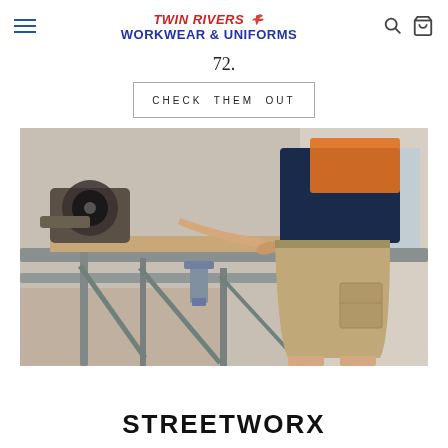TWIN RIVERS WORKWEAR & UNIFORMS — navigation bar with hamburger menu, logo, search and cart icons
72.
CHECK THEM OUT
[Figure (photo): A construction worker wearing khaki cargo shorts and a navy/hi-vis orange shirt, bending over a metal workbench/scaffolding on a job site, using tools.]
STREETWORX